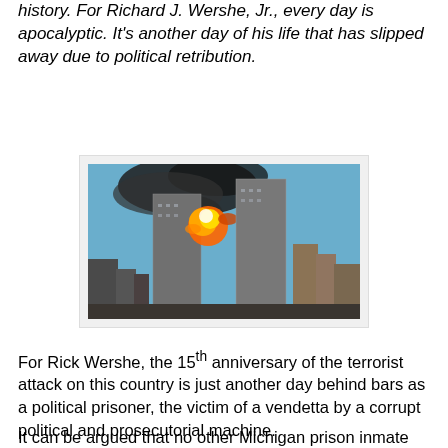history. For Richard J. Wershe, Jr., every day is apocalyptic. It's another day of his life that has slipped away due to political retribution.
[Figure (photo): Photograph of the September 11 terrorist attacks showing the Twin Towers of the World Trade Center, one struck by a plane with a large explosion and fireball, smoke billowing upward against a blue sky, with surrounding New York City buildings visible below.]
For Rick Wershe, the 15th anniversary of the terrorist attack on this country is just another day behind bars as a political prisoner, the victim of a vendetta by a corrupt political and prosecutorial machine.
It can be argued that no other Michigan prison inmate